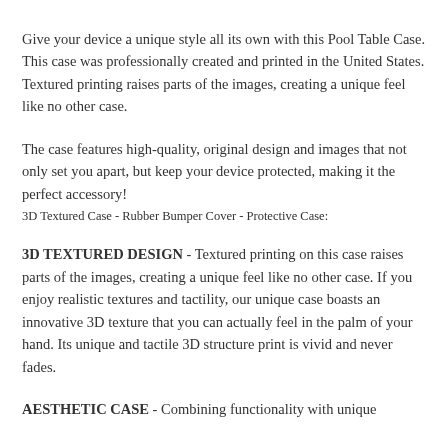Give your device a unique style all its own with this Pool Table Case. This case was professionally created and printed in the United States. Textured printing raises parts of the images, creating a unique feel like no other case.
The case features high-quality, original design and images that not only set you apart, but keep your device protected, making it the perfect accessory!
3D Textured Case - Rubber Bumper Cover - Protective Case:
3D TEXTURED DESIGN - Textured printing on this case raises parts of the images, creating a unique feel like no other case. If you enjoy realistic textures and tactility, our unique case boasts an innovative 3D texture that you can actually feel in the palm of your hand. Its unique and tactile 3D structure print is vivid and never fades.
AESTHETIC CASE - Combining functionality with unique